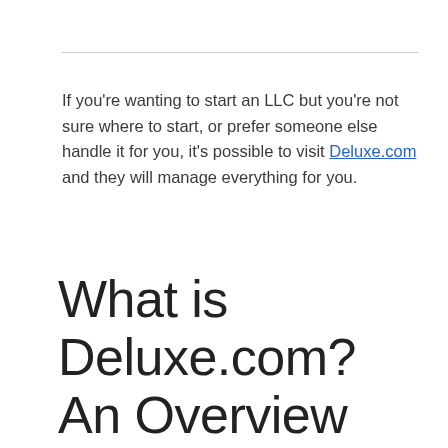If you're wanting to start an LLC but you're not sure where to start, or prefer someone else handle it for you, it's possible to visit Deluxe.com and they will manage everything for you.
What is Deluxe.com? An Overview